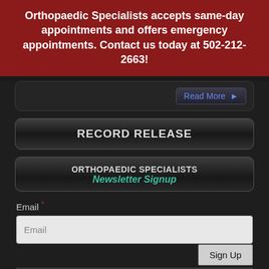Orthopaedic Specialists accepts same-day appointments and offers emergency appointments. Contact us today at 502-212-2663!
[Figure (screenshot): Read More button with right arrow on dark background]
RECORD RELEASE
ORTHOPAEDIC SPECIALISTS Newsletter Signup
Email *
Email (input field placeholder)
Sign Up
By submitting this form, you are consenting to receive marketing emails from: Orthopaedic Specialists, 4001